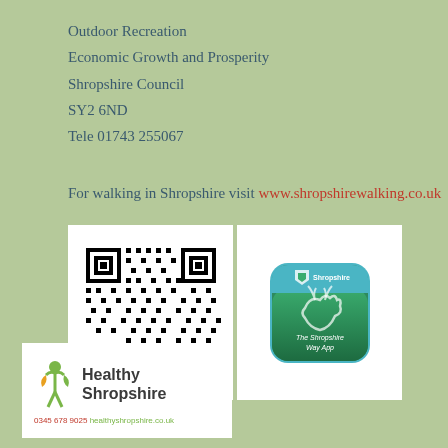Outdoor Recreation
Economic Growth and Prosperity
Shropshire Council
SY2 6ND
Tele 01743 255067
For walking in Shropshire visit www.shropshirewalking.co.uk
[Figure (other): QR code linking to shropshire walking website, next to an app icon for The Shropshire Way app with teal/green design]
[Figure (logo): Healthy Shropshire logo with green person icon and text 'Healthy Shropshire', phone 0345 678 9025, healthyshropshire.co.uk]